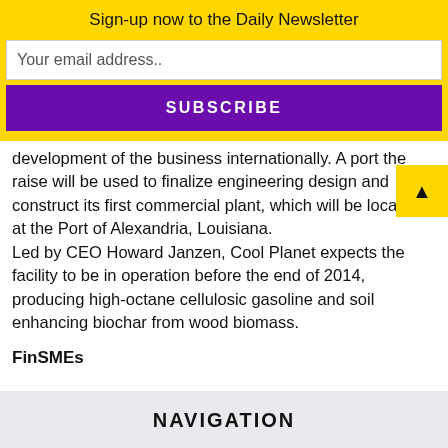Sign-up now to the Daily Newsletter
Your email address..
SUBSCRIBE
development of the business internationally. A port the raise will be used to finalize engineering design and construct its first commercial plant, which will be located at the Port of Alexandria, Louisiana. Led by CEO Howard Janzen, Cool Planet expects the facility to be in operation before the end of 2014, producing high-octane cellulosic gasoline and soil enhancing biochar from wood biomass.
FinSMEs
NAVIGATION